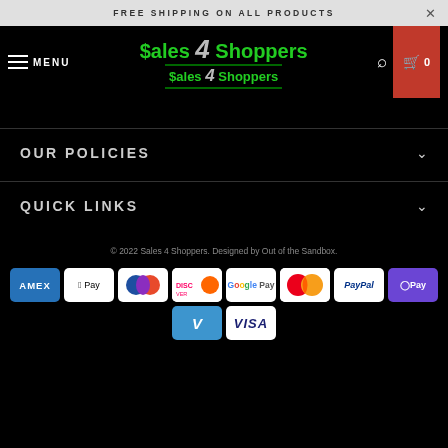FREE SHIPPING ON ALL PRODUCTS
[Figure (logo): Sales 4 Shoppers logo with green stylized text and diagonal slash]
OUR POLICIES
QUICK LINKS
© 2022 Sales 4 Shoppers. Designed by Out of the Sandbox.
[Figure (other): Payment method icons: AMEX, Apple Pay, Diners, Discover, Google Pay, Mastercard, PayPal, OPay, Venmo, Visa]